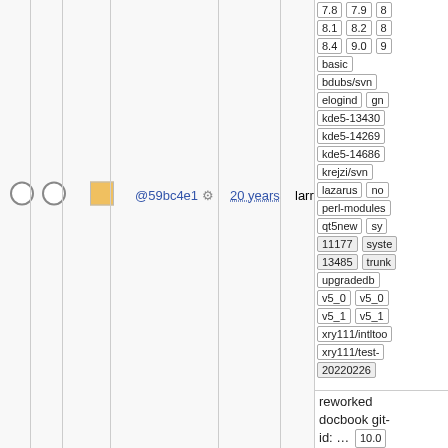|  |  |  | commit |  | author | branches/tags |
| --- | --- | --- | --- | --- | --- | --- |
| ○ ○ | ■ | @59bc4e1 ⚙ | 20 years | larry | 7.8 7.9 | 8.1 8.2 | 8.4 9.0 | basic | bdubs/svn | elogind gn... | kde5-13430 | kde5-14269 | kde5-14686 | krejzi/svn | lazarus no... | perl-modules | qt5new sys... | 11177 syste... | 13485 trunk | upgradedb | v5_0 v5_0... | v5_1 v5_1... | xry111/intltoo... | xry111/test- | 20220226 |
|  |  |  |  |  | reworked docbook git-id: ... 10.0 | 10.1 11.0 | 11.1 6.0 | 6.2 6.2.0 | 6.2.0-rc1 6... | rc2 6.3 6.4... |  |